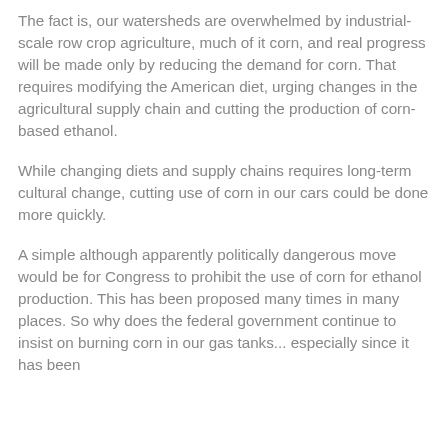The fact is, our watersheds are overwhelmed by industrial-scale row crop agriculture, much of it corn, and real progress will be made only by reducing the demand for corn. That requires modifying the American diet, urging changes in the agricultural supply chain and cutting the production of corn-based ethanol.
While changing diets and supply chains requires long-term cultural change, cutting use of corn in our cars could be done more quickly.
A simple although apparently politically dangerous move would be for Congress to prohibit the use of corn for ethanol production. This has been proposed many times in many places. So why does the federal government continue to insist on burning corn in our gas tanks... especially since it has been